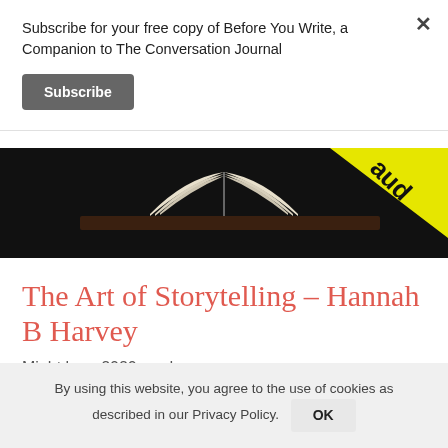Subscribe for your free copy of Before You Write, a Companion to The Conversation Journal
Subscribe
[Figure (photo): Dark photo of an open book on a table with yellow caution tape in the corner reading 'aud']
The Art of Storytelling - Hannah B Harvey
Might be a 2020 read
By using this website, you agree to the use of cookies as described in our Privacy Policy. OK